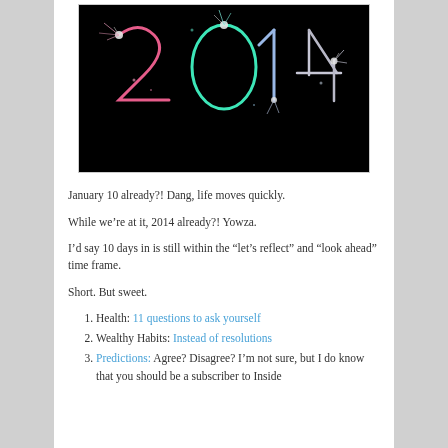[Figure (photo): A dark/black background image showing '2014' written in sparklers/fireworks light. The '2' is pink/reddish, '0' is green/teal, '1' is blue/white, and '4' is white/silver.]
January 10 already?! Dang, life moves quickly.
While we’re at it, 2014 already?! Yowza.
I’d say 10 days in is still within the “let’s reflect” and “look ahead” time frame.
Short. But sweet.
Health: 11 questions to ask yourself
Wealthy Habits: Instead of resolutions
Predictions: Agree? Disagree? I’m not sure, but I do know that you should be a subscriber to Inside